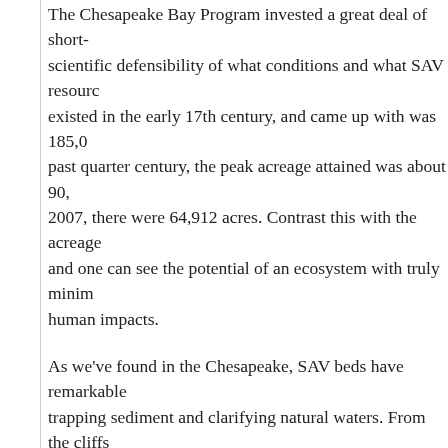The Chesapeake Bay Program invested a great deal of short-term scientific defensibility of what conditions and what SAV resources existed in the early 17th century, and came up with was 185,000 past quarter century, the peak acreage attained was about 90,000 2007, there were 64,912 acres. Contrast this with the acreage and one can see the potential of an ecosystem with truly minimum human impacts.
As we've found in the Chesapeake, SAV beds have remarkable trapping sediment and clarifying natural waters. From the cliffs on the west side of the Peron Peninsula one can look down 150 on a dark, seemingly endless carpet of underwater meadows as far as the eye can see.
This is comparable to the view from Calvert Cliffs on the Chesapeake Western Shore. Scientist Joe Mihursky, who has lived atop those decades, once figured that on a clear day he could survey 600 of the Bay and the Choptank River. Despite his commanding position, Mihursky sees no SAV.
As in the Chesapeake, there are about a dozen significant SAV Shark Bay. The dominant plant is the fernlike Amphibolis antarcti